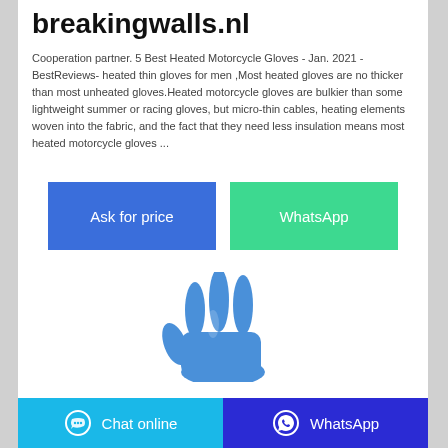breakingwalls.nl
Cooperation partner. 5 Best Heated Motorcycle Gloves - Jan. 2021 - BestReviews- heated thin gloves for men ,Most heated gloves are no thicker than most unheated gloves.Heated motorcycle gloves are bulkier than some lightweight summer or racing gloves, but micro-thin cables, heating elements woven into the fabric, and the fact that they need less insulation means most heated motorcycle gloves ...
[Figure (other): Blue 'Ask for price' button and green 'WhatsApp' button side by side]
[Figure (illustration): Blue latex glove hand illustration showing three raised fingers]
Chat online   WhatsApp